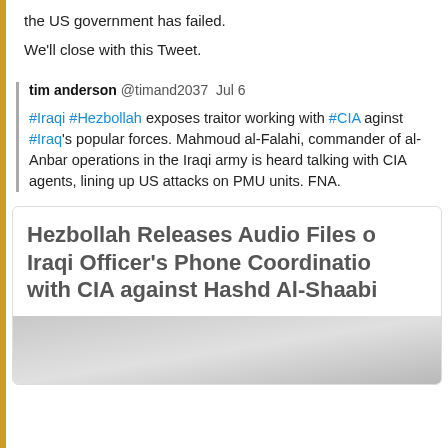the US government has failed.
We'll close with this Tweet.
tim anderson @timand2037  Jul 6
#Iraqi #Hezbollah exposes traitor working with #CIA aginst #Iraq's popular forces. Mahmoud al-Falahi, commander of al-Anbar operations in the Iraqi army is heard talking with CIA agents, lining up US attacks on PMU units. FNA.
[Figure (screenshot): News article headline card: 'Hezbollah Releases Audio Files of Iraqi Officer's Phone Coordination with CIA against Hashd Al-Shaabi' with a grey image placeholder below]